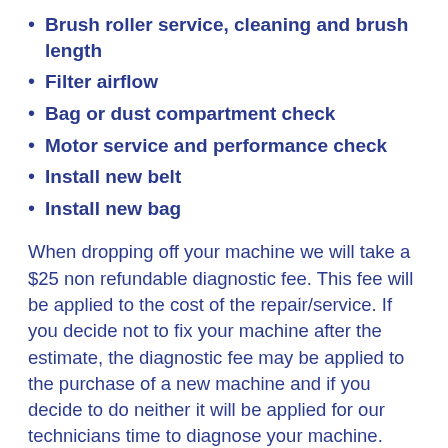Brush roller service, cleaning and brush length
Filter airflow
Bag or dust compartment check
Motor service and performance check
Install new belt
Install new bag
When dropping off your machine we will take a $25 non refundable diagnostic fee. This fee will be applied to the cost of the repair/service. If you decide not to fix your machine after the estimate, the diagnostic fee may be applied to the purchase of a new machine and if you decide to do neither it will be applied for our technicians time to diagnose your machine.